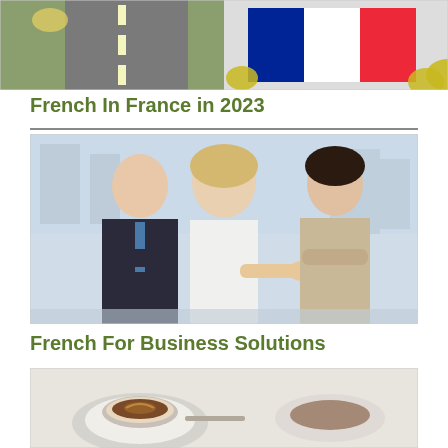[Figure (photo): Left half: road/countryside scene; Right half: French flag (blue, white, red) with decorative elements]
French In France in 2023
[Figure (photo): Three business professionals smiling in an office setting; woman in center extending hand for handshake]
French For Business Solutions
[Figure (photo): Bottom image partially visible: appears to show a coffee or food item on a plate]